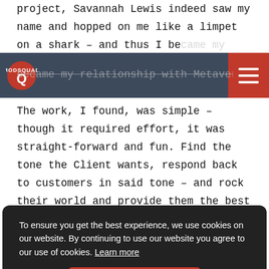project, Savannah Lewis indeed saw my name and hopped on me like a limpet on a shark – and thus I became my relationship with Metaverse Mod Squad
[Figure (logo): ModSquad logo: red circular icon with Q shape and text MODSQUAD below, on dark navy navigation bar with red hamburger menu button on right]
The work, I found, was simple – though it required effort, it was straight-forward and fun. Find the tone the Client wants, respond back to customers in said tone – and rock their world and provide them the best customer service they ever did see. Never content to simply do the bare minimum, I began applying myself in
got the
ety of
and
ey too had
Since that
To ensure you get the best experience, we use cookies on our website. By continuing to use our website you agree to our use of cookies. Learn more
GOT IT!